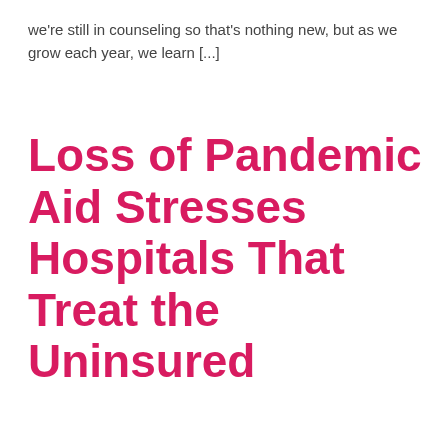we're still in counseling so that's nothing new, but as we grow each year, we learn [...]
Loss of Pandemic Aid Stresses Hospitals That Treat the Uninsured